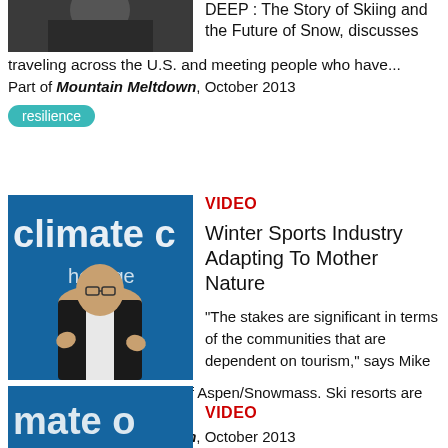[Figure (photo): Partial photo of a person, cropped at top]
DEEP: The Story of Skiing and the Future of Snow, discusses traveling across the U.S. and meeting people who have...
Part of Mountain Meltdown, October 2013
resilience
[Figure (photo): Man in dark suit speaking at a climate conference, blue background with 'climate' text]
VIDEO
Winter Sports Industry Adapting To Mother Nature
"The stakes are significant in terms of the communities that are dependent on tourism," says Mike Kaplan, President & CEO of Aspen/Snowmass. Ski resorts are adapting to...
Part of Mountain Meltdown, October 2013
resilience
[Figure (photo): Partial photo at bottom with 'mate' text visible on blue background]
VIDEO